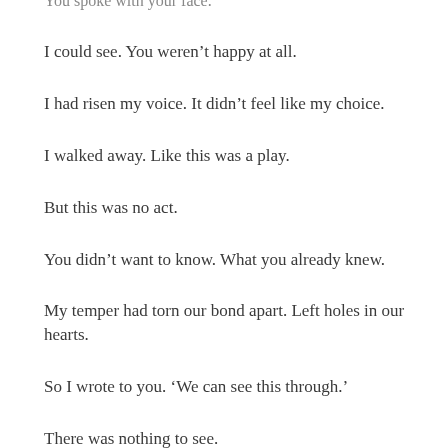You spoke with your face.
I could see. You weren’t happy at all.
I had risen my voice. It didn’t feel like my choice.
I walked away. Like this was a play.
But this was no act.
You didn’t want to know. What you already knew.
My temper had torn our bond apart. Left holes in our hearts.
So I wrote to you. ‘We can see this through.’
There was nothing to see.
You built yourself a new home. A new start.